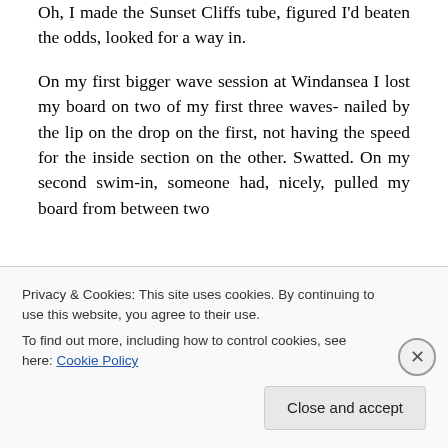Oh, I made the Sunset Cliffs tube, figured I'd beaten the odds, looked for a way in.
On my first bigger wave session at Windansea I lost my board on two of my first three waves- nailed by the lip on the drop on the first, not having the speed for the inside section on the other. Swatted. On my second swim-in, someone had, nicely, pulled my board from between two of the…
Privacy & Cookies: This site uses cookies. By continuing to use this website, you agree to their use.
To find out more, including how to control cookies, see here: Cookie Policy
Close and accept